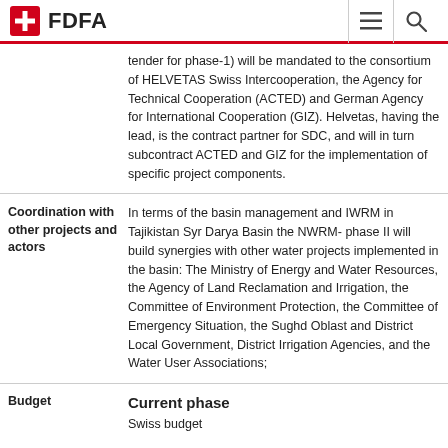FDFA
|  | tender for phase-1) will be mandated to the consortium of HELVETAS Swiss Intercooperation, the Agency for Technical Cooperation (ACTED) and German Agency for International Cooperation (GIZ). Helvetas, having the lead, is the contract partner for SDC, and will in turn subcontract ACTED and GIZ for the implementation of specific project components. |
| Coordination with other projects and actors | In terms of the basin management and IWRM in Tajikistan Syr Darya Basin the NWRM- phase II will build synergies with other water projects implemented in the basin: The Ministry of Energy and Water Resources, the Agency of Land Reclamation and Irrigation, the Committee of Environment Protection, the Committee of Emergency Situation, the Sughd Oblast and District Local Government, District Irrigation Agencies, and the Water User Associations; |
Budget
Current phase
Swiss budget